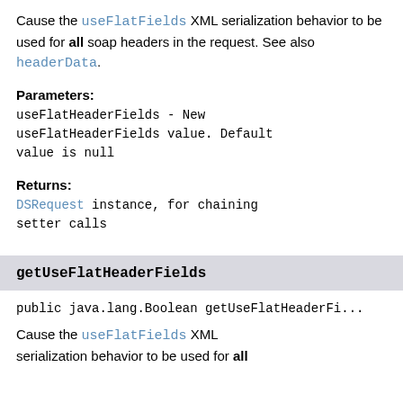Cause the useFlatFields XML serialization behavior to be used for all soap headers in the request. See also headerData.
Parameters:
useFlatHeaderFields - New useFlatHeaderFields value. Default value is null
Returns:
DSRequest instance, for chaining setter calls
getUseFlatHeaderFields
public java.lang.Boolean getUseFlatHeaderFi...
Cause the useFlatFields XML serialization behavior to be used for all